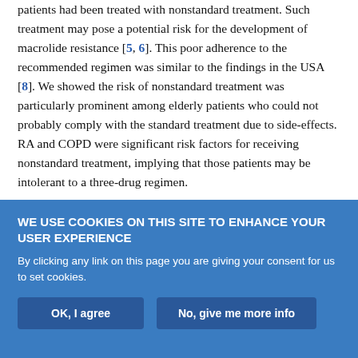patients had been treated with nonstandard treatment. Such treatment may pose a potential risk for the development of macrolide resistance [5, 6]. This poor adherence to the recommended regimen was similar to the findings in the USA [8]. We showed the risk of nonstandard treatment was particularly prominent among elderly patients who could not probably comply with the standard treatment due to side-effects. RA and COPD were significant risk factors for receiving nonstandard treatment, implying that those patients may be intolerant to a three-drug regimen.
Some limitations may have biased the results of this study. Because the American Thoracic Society/Infectious Diseases Society of
WE USE COOKIES ON THIS SITE TO ENHANCE YOUR USER EXPERIENCE
By clicking any link on this page you are giving your consent for us to set cookies.